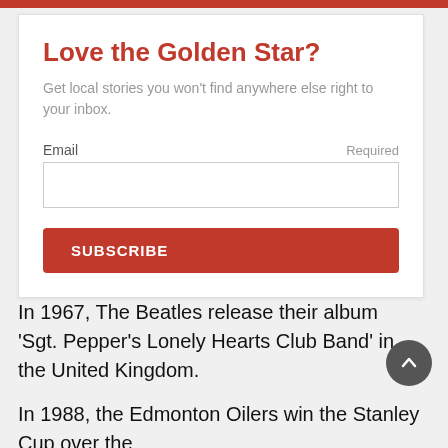Love the Golden Star?
Get local stories you won't find anywhere else right to your inbox.
Email  Required
SUBSCRIBE
In 1967, The Beatles release their album ‘Sgt. Pepper’s Lonely Hearts Club Band’ in the United Kingdom.
In 1988, the Edmonton Oilers win the Stanley Cup over the